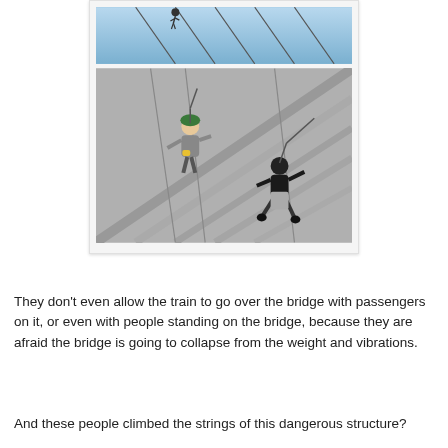[Figure (photo): Two photos stacked in a card: top photo shows cables/wires against blue sky; bottom photo shows two people in harnesses suspended from bridge cables/strings against a gray background.]
They don't even allow the train to go over the bridge with passengers on it, or even with people standing on the bridge, because they are afraid the bridge is going to collapse from the weight and vibrations.
And these people climbed the strings of this dangerous structure?